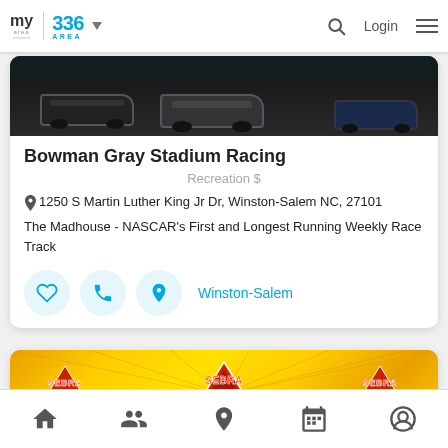my area network | 336 AREA | Login
[Figure (photo): Racing cars on a track, photo banner at top of listing card]
Bowman Gray Stadium Racing
Recreation $
1250 S Martin Luther King Jr Dr, Winston-Salem NC, 27101
The Madhouse - NASCAR's First and Longest Running Weekly Race Track
Winston-Salem
[Figure (photo): SEBRA (Extreme Bull Riding) banner with three logos on yellow sunburst background]
Home | People | Location | Calendar | Profile